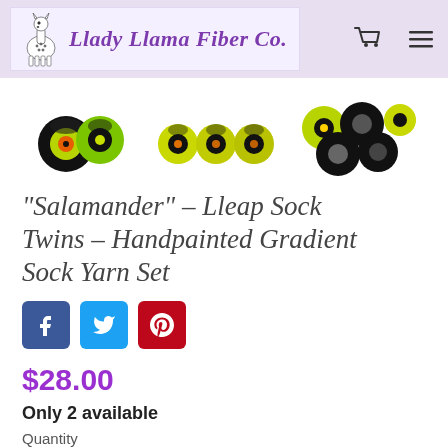[Figure (logo): Llady Llama Fiber Co. logo with llama illustration and purple text on light purple background with swirl pattern]
[Figure (photo): Three groups of yarn skeins/balls in black, yellow-green, and orange gradient colors (Salamander colorway)]
"Salamander" - Lleap Sock Twins - Handpainted Gradient Sock Yarn Set
[Figure (infographic): Facebook, Twitter, and Pinterest social share buttons]
$28.00
Only 2 available
Quantity